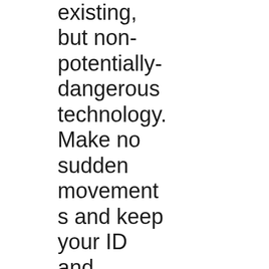existing, but non-potentially-dangerous technology. Make no sudden movements and keep your ID and passport